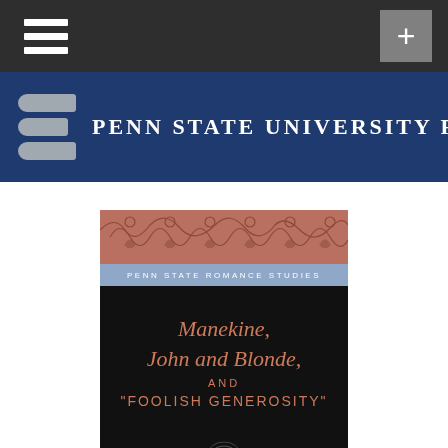Penn State University Press — navigation bar with hamburger menu and plus button
[Figure (logo): Penn State University Press banner with logo icon (three horizontal bars) and text 'PENN STATE UNIVERSITY PRESS' on a dark blue background]
[Figure (photo): Book cover for 'Manekine, John and Blonde, and Foolish Generosity' by Philippe de Remi. Part of Penn State Romance Studies series. Cover features a decorative terracotta-colored floral/scroll top band, a blue series label strip reading 'PENN STATE ROMANCE STUDIES', and a black main field with the title in italic terracotta lettering and author name at bottom.]